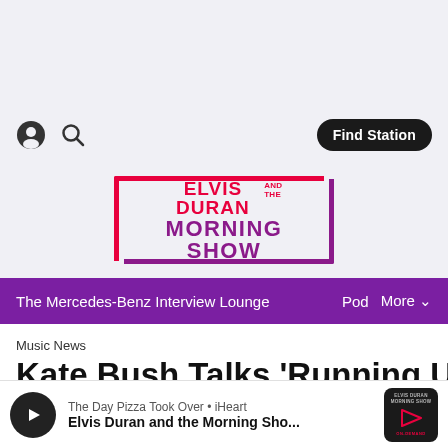[Figure (screenshot): Top gray header area of a mobile web app]
[Figure (logo): Elvis Duran and the Morning Show logo with red and purple bracketed border]
The Mercedes-Benz Interview Lounge   Pod   More
Music News
Kate Bush Talks 'Running Up
The Day Pizza Took Over • iHeart
Elvis Duran and the Morning Sho...